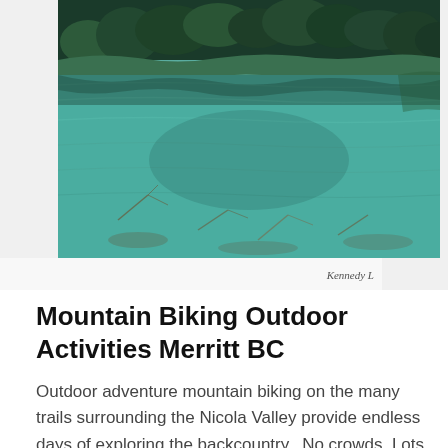[Figure (photo): Aerial/landscape photo of a turquoise-green lake or river with dense green forest treeline reflected in the calm water surface. Partially submerged branches visible in the foreground.]
Kennedy L
Mountain Biking Outdoor Activities Merritt BC
Outdoor adventure mountain biking on the many trails surrounding the Nicola Valley provide endless days of exploring the backcountry.  No crowds. Lots of trails. Mouth-dropping scenery. Therefore to enjoy the trails in our backcountry